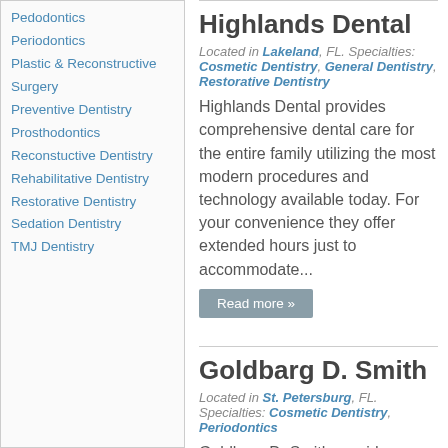Pedodontics
Periodontics
Plastic & Reconstructive Surgery
Preventive Dentistry
Prosthodontics
Reconstuctive Dentistry
Rehabilitative Dentistry
Restorative Dentistry
Sedation Dentistry
TMJ Dentistry
Highlands Dental
Located in Lakeland, FL. Specialties: Cosmetic Dentistry, General Dentistry, Restorative Dentistry
Highlands Dental provides comprehensive dental care for the entire family utilizing the most modern procedures and technology available today. For your convenience they offer extended hours just to accommodate...
Read more »
Goldbarg D. Smith
Located in St. Petersburg, FL. Specialties: Cosmetic Dentistry, Periodontics
Goldbarg D. Smith provides complete dental care in a